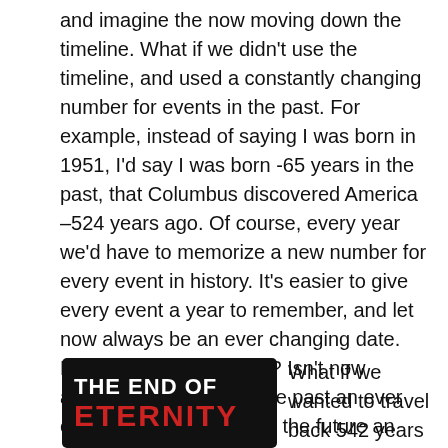and imagine the now moving down the timeline. What if we didn't use the timeline, and used a constantly changing number for events in the past. For example, instead of saying I was born in 1951, I'd say I was born -65 years in the past, that Columbus discovered America –524 years ago. Of course, every year we'd have to memorize a new number for every event in history. It's easier to give every event a year to remember, and let now always be an ever changing date. But isn't that backwards? Isn't now always the same, and the past an ever expanding number? And the future an ever shrinking number?
[Figure (photo): Book cover of 'The End of Eternity' with white title text and red subtitle text on a black background]
What if we wanted to travel back 542 years to see